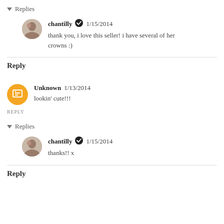▾ Replies
chantilly ✅ 1/15/2014
thank you, i love this seller! i have several of her crowns :)
Reply
Unknown 1/13/2014
lookin' cute!!!
REPLY
▾ Replies
chantilly ✅ 1/15/2014
thanks!! x
Reply